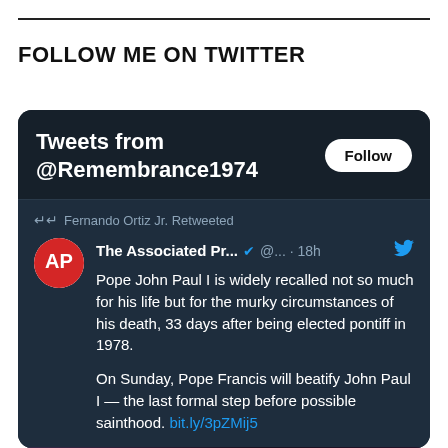FOLLOW ME ON TWITTER
[Figure (screenshot): Twitter widget showing tweets from @Remembrance1974. Contains a retweeted AP tweet: 'Pope John Paul I is widely recalled not so much for his life but for the murky circumstances of his death, 33 days after being elected pontiff in 1978. On Sunday, Pope Francis will beatify John Paul I — the last formal step before possible sainthood. bit.ly/3pZMij5'. Includes an AP logo, verified badge, 18h timestamp, and a preview image.]